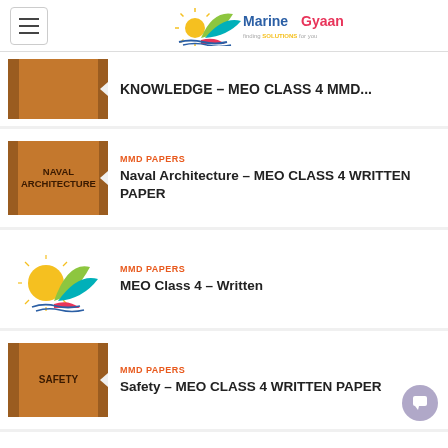Marine Gyaan - finding solutions for you
[Figure (illustration): Book thumbnail for Knowledge MEO Class 4 MMD]
KNOWLEDGE – MEO CLASS 4 MMD...
[Figure (illustration): Book thumbnail labeled NAVAL ARCHITECTURE]
MMD PAPERS
Naval Architecture – MEO CLASS 4 WRITTEN PAPER
[Figure (logo): Marine Gyaan sail logo]
MMD PAPERS
MEO Class 4 – Written
[Figure (illustration): Book thumbnail labeled SAFETY]
MMD PAPERS
Safety – MEO CLASS 4 WRITTEN PAPER
[Figure (logo): Marine Gyaan sail logo partial]
MMD PAPERS